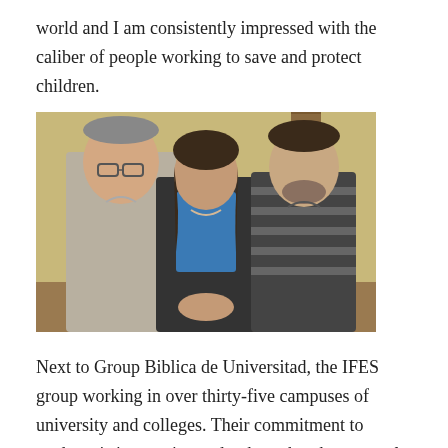world and I am consistently impressed with the caliber of people working to save and protect children.
[Figure (photo): Three people standing together in front of a yellow wall — a tall man on the left wearing glasses and a light grey shirt, a woman in the center wearing a dark cardigan over a blue top, and a man on the right wearing a dark striped sweater.]
Next to Group Biblica de Universitad, the IFES group working in over thirty-five campuses of university and colleges. Their commitment to students is impressive and to hear that they are only able to touch half the